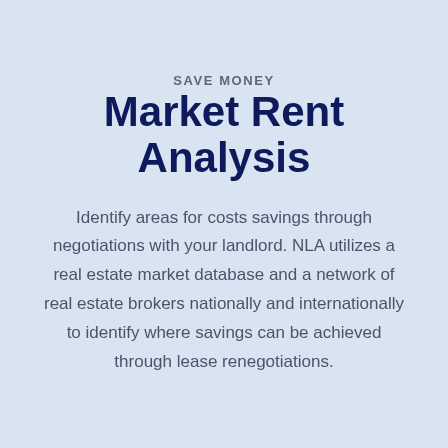SAVE MONEY
Market Rent Analysis
Identify areas for costs savings through negotiations with your landlord. NLA utilizes a real estate market database and a network of real estate brokers nationally and internationally to identify where savings can be achieved through lease renegotiations.